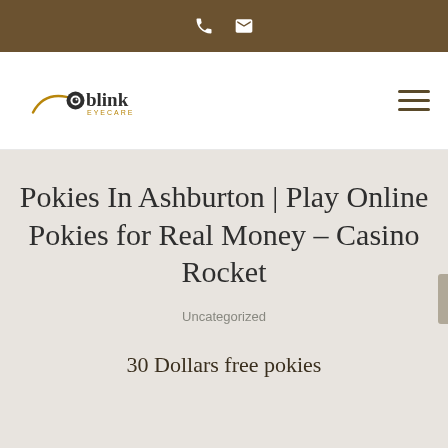[Figure (logo): Blink Eyecare logo with stylized eye and swoosh, text 'blink EYECARE']
Pokies In Ashburton | Play Online Pokies for Real Money – Casino Rocket
Uncategorized
30 Dollars free pokies